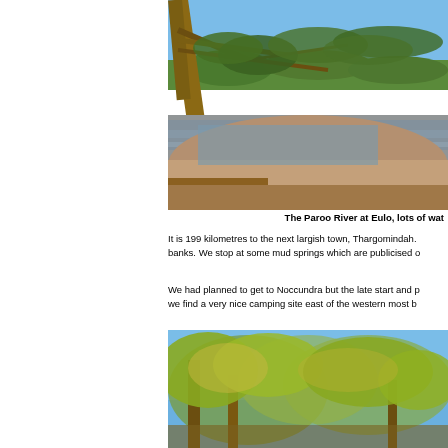[Figure (photo): The Paroo River at Eulo — a wide shallow river with muddy brown water reflecting the blue sky, flanked by large gum trees with spreading branches, scrubby bushland on the far bank, clear blue sky above.]
The Paroo River at Eulo, lots of wat
It is 199 kilometres to the next largish town, Thargomindah. banks. We stop at some mud springs which are publicised o
We had planned to get to Noccundra but the late start and p we find a very nice camping site east of the western most b
[Figure (photo): A camping scene in Australian outback — tall gum trees and scrubby bushland under a bright blue sky, golden afternoon light on the foliage.]